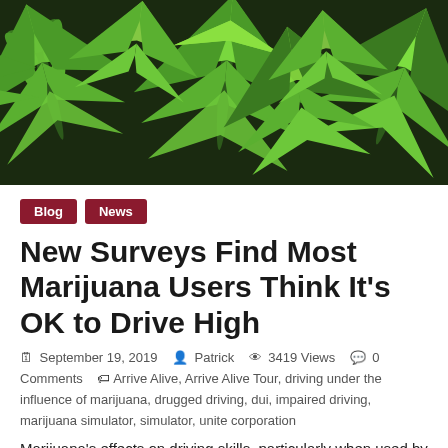[Figure (photo): Hero image of green cannabis/marijuana leaves on a dark background]
Blog  News
New Surveys Find Most Marijuana Users Think It’s OK to Drive High
September 19, 2019   Patrick   3419 Views   0 Comments   Arrive Alive, Arrive Alive Tour, driving under the influence of marijuana, drugged driving, dui, impaired driving, marijuana simulator, simulator, unite corporation
Marijuana’s effects on driving skills, particularly when used by drivers involved in auto accidents, including fatal ones, is an emerging